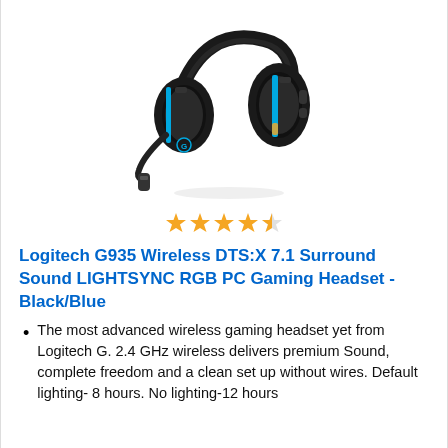[Figure (photo): Logitech G935 wireless gaming headset in black and blue, with microphone extended, shown at an angle against white background.]
[Figure (other): 4.5 out of 5 stars rating shown as gold stars (4 full, 1 half, 1 empty outline)]
Logitech G935 Wireless DTS:X 7.1 Surround Sound LIGHTSYNC RGB PC Gaming Headset - Black/Blue
The most advanced wireless gaming headset yet from Logitech G. 2.4 GHz wireless delivers premium Sound, complete freedom and a clean set up without wires. Default lighting- 8 hours. No lighting-12 hours